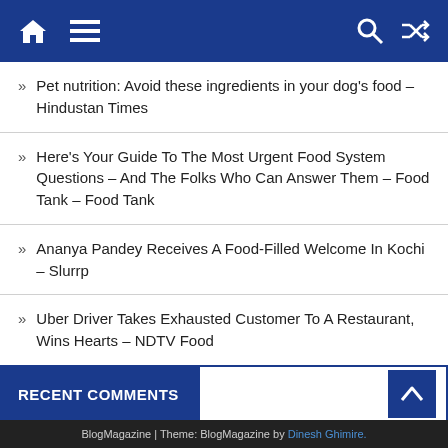Navigation bar with home, menu, search, and shuffle icons
Pet nutrition: Avoid these ingredients in your dog's food – Hindustan Times
Here's Your Guide To The Most Urgent Food System Questions – And The Folks Who Can Answer Them – Food Tank – Food Tank
Ananya Pandey Receives A Food-Filled Welcome In Kochi – Slurrp
Uber Driver Takes Exhausted Customer To A Restaurant, Wins Hearts – NDTV Food
Tamil lyricist finds chicken in Swiggy order, says `Strict Vegetarian`, Swiggy reacts – Zee News
RECENT COMMENTS
BlogMagazine | Theme: BlogMagazine by Dinesh Ghimire.